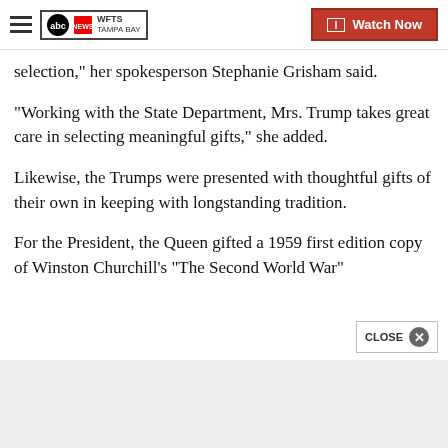WFTS TAMPA BAY | Watch Now
selection," her spokesperson Stephanie Grisham said.
"Working with the State Department, Mrs. Trump takes great care in selecting meaningful gifts," she added.
Likewise, the Trumps were presented with thoughtful gifts of their own in keeping with longstanding tradition.
For the President, the Queen gifted a 1959 first edition copy of Winston Churchill's "The Second World War"